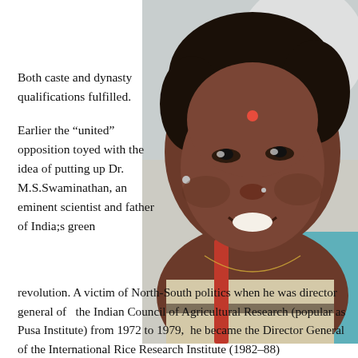[Figure (photo): Portrait photo of a smiling Indian woman wearing a cream/beige saree with a red bindi on her forehead and a thin gold necklace, photographed outdoors with blurred background.]
Both caste and dynasty qualifications fulfilled.
Earlier the “united” opposition toyed with the idea of putting up Dr. M.S.Swaminathan, an eminent scientist and father of India;s green revolution. A victim of North-South politics when he was director general of  the Indian Council of Agricultural Research (popular as Pusa Institute) from 1972 to 1979,  he became the Director General of the International Rice Research Institute (1982–88)